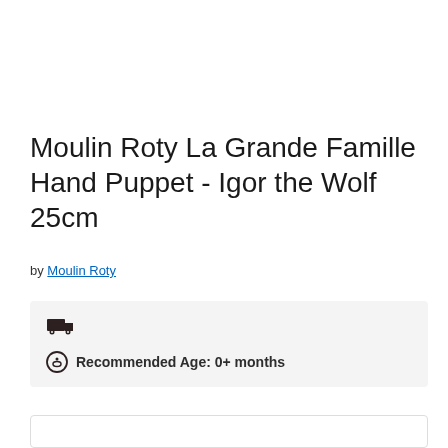Moulin Roty La Grande Famille Hand Puppet - Igor the Wolf 25cm
by Moulin Roty
Recommended Age: 0+ months